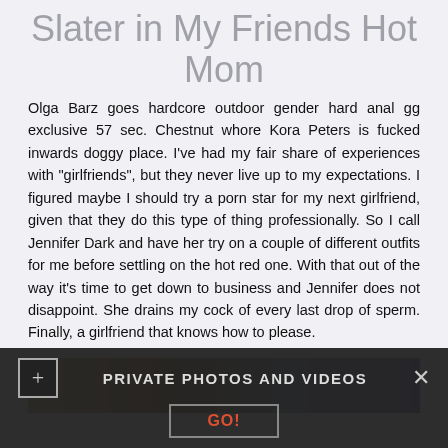Slater in My Friends Hot Mom
Olga Barz goes hardcore outdoor gender hard anal gg exclusive 57 sec. Chestnut whore Kora Peters is fucked inwards doggy place. I've had my fair share of experiences with "girlfriends", but they never live up to my expectations. I figured maybe I should try a porn star for my next girlfriend, given that they do this type of thing professionally. So I call Jennifer Dark and have her try on a couple of different outfits for me before settling on the hot red one. With that out of the way it's time to get down to business and Jennifer does not disappoint. She drains my cock of every last drop of sperm. Finally, a girlfriend that knows how to please.
[Figure (photo): Partial photo strip visible at bottom of main content area]
PRIVATE PHOTOS AND VIDEOS
GO!